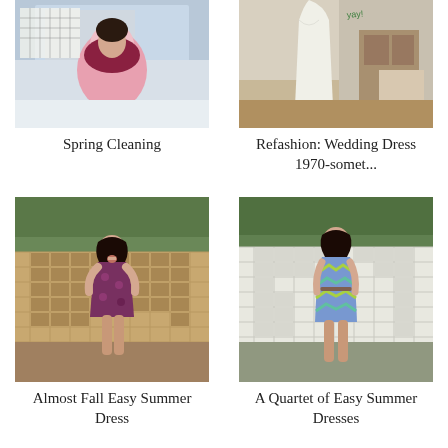[Figure (photo): Photo of a person in pink winter clothing sitting in snow with a dark background showing a calendar or chart]
Spring Cleaning
[Figure (photo): Photo of a white wedding dress hanging in a room with wooden furniture]
Refashion: Wedding Dress 1970-somet...
[Figure (photo): Photo of a woman in a purple floral dress standing in front of a wooden lattice fence outdoors]
Almost Fall Easy Summer Dress
[Figure (photo): Photo of a woman in a blue and green patterned dress standing in front of a white lattice fence outdoors]
A Quartet of Easy Summer Dresses